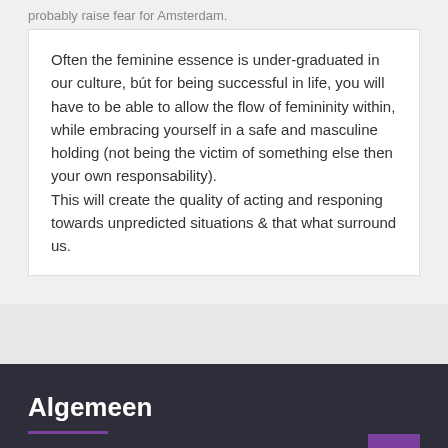probably raise fear for Amsterdam.
Often the feminine essence is under-graduated in our culture, bút for being successful in life, you will have to be able to allow the flow of femininity within, while embracing yourself in a safe and masculine holding (not being the victim of something else then your own responsability).
This will create the quality of acting and responing towards unpredicted situations & that what surround us.
Algemeen
Algemene Voorwaarden